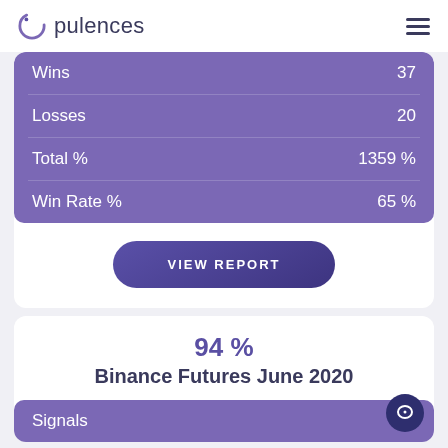Opulences
| Metric | Value |
| --- | --- |
| Wins | 37 |
| Losses | 20 |
| Total % | 1359 % |
| Win Rate % | 65 % |
VIEW REPORT
94 %
Binance Futures June 2020
| Metric | Value |
| --- | --- |
| Signals | 47 |